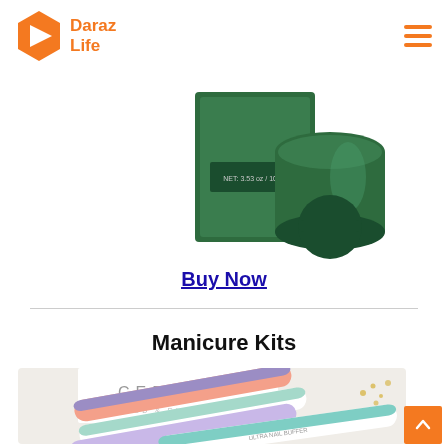Daraz Life
[Figure (photo): Green product jar and packaging, partially visible at top of page]
Buy Now
Manicure Kits
[Figure (photo): Colorful nail files/buffers in pink, purple, lavender, mint/teal colors arranged on a white surface with CEREAL text and jewelry in background]